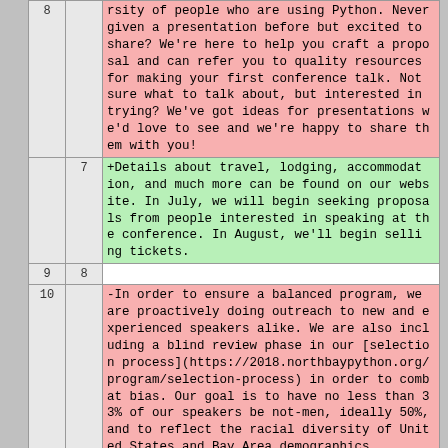| row | col | content |
| --- | --- | --- |
| 8 |  | rsity of people who are using Python. Never given a presentation before but excited to share? We're here to help you craft a proposal and can refer you to quality resources for making your first conference talk. Not sure what to talk about, but interested in trying? We've got ideas for presentations we'd love to see and we're happy to share them with you! |
|  | 7 | +Details about travel, lodging, accommodation, and much more can be found on our website. In July, we will begin seeking proposals from people interested in speaking at the conference. In August, we'll begin selling tickets. |
| 9 | 8 |  |
| 10 |  | -In order to ensure a balanced program, we are proactively doing outreach to new and experienced speakers alike. We are also including a blind review phase in our [selection process](https://2018.northbaypython.org/program/selection-process) in order to combat bias. Our goal is to have no less than 33% of our speakers be not-men, ideally 50%, and to reflect the racial diversity of United States and Bay Area demographics. |
| 11 |  | - |